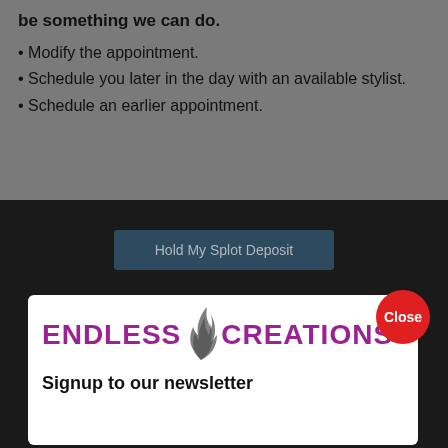be something we can do.
Modify the appointment.
Schedule you later in the day with an available stylist.
Schedule an earlier appointment.
[Figure (screenshot): Dark button labeled 'Hold My Splot Deposit']
[Figure (logo): Endless Creations logo with flame graphic and text 'ENDLESS CREATIONS']
Signup to our newsletter